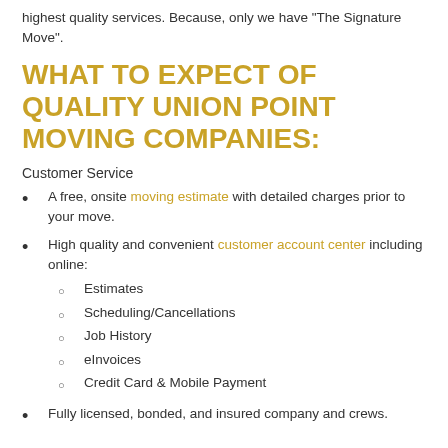highest quality services. Because, only we have "The Signature Move".
WHAT TO EXPECT OF QUALITY UNION POINT MOVING COMPANIES:
Customer Service
A free, onsite moving estimate with detailed charges prior to your move.
High quality and convenient customer account center including online: Estimates, Scheduling/Cancellations, Job History, eInvoices, Credit Card & Mobile Payment
Fully licensed, bonded, and insured company and crews.